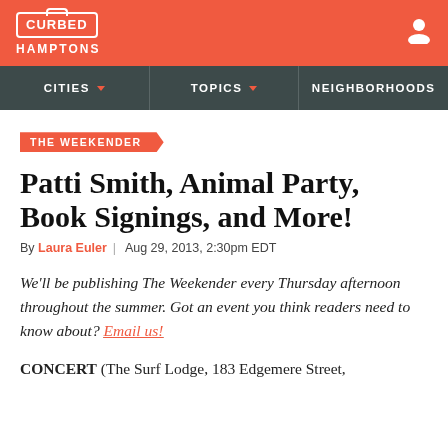CURBED HAMPTONS
THE WEEKENDER
Patti Smith, Animal Party, Book Signings, and More!
By Laura Euler | Aug 29, 2013, 2:30pm EDT
We'll be publishing The Weekender every Thursday afternoon throughout the summer. Got an event you think readers need to know about? Email us!
CONCERT (The Surf Lodge, 183 Edgemere Street,